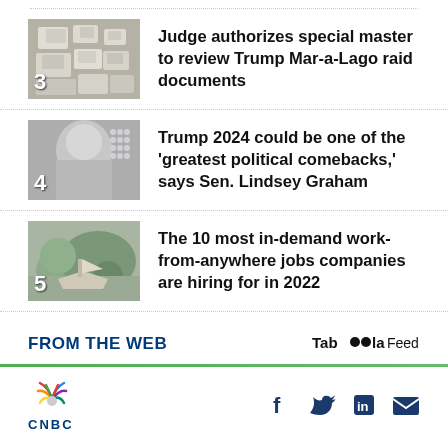Judge authorizes special master to review Trump Mar-a-Lago raid documents
Trump 2024 could be one of the 'greatest political comebacks,' says Sen. Lindsey Graham
The 10 most in-demand work-from-anywhere jobs companies are hiring for in 2022
FROM THE WEB
[Figure (logo): Taboola Feed logo]
[Figure (logo): CNBC logo with peacock icon]
[Figure (infographic): Social media icons: Facebook, Twitter, LinkedIn, Email]